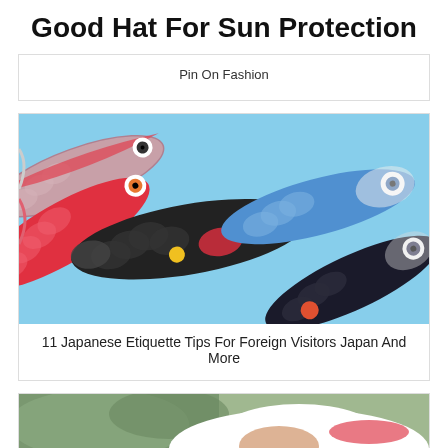Good Hat For Sun Protection
Pin On Fashion
[Figure (photo): Colorful Japanese koinobori (carp-shaped wind socks/streamers) in black, red, blue, and pink patterns against a light blue sky background.]
11 Japanese Etiquette Tips For Foreign Visitors Japan And More
[Figure (photo): Partial view of a person wearing a white hat outdoors, with green foliage in the background.]